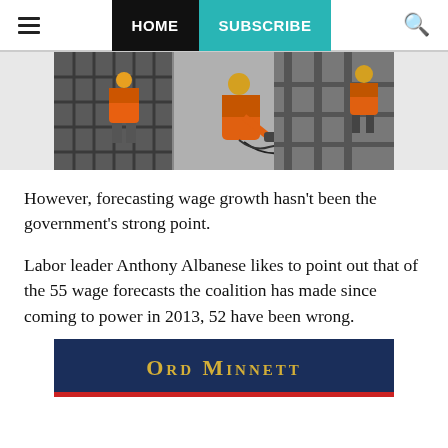HOME | SUBSCRIBE
[Figure (photo): Construction workers in orange high-visibility gear and yellow hard hats working on a building structure with rebar and concrete]
However, forecasting wage growth hasn't been the government's strong point.
Labor leader Anthony Albanese likes to point out that of the 55 wage forecasts the coalition has made since coming to power in 2013, 52 have been wrong.
[Figure (logo): Ord Minnett advertisement banner with dark navy background and gold text]